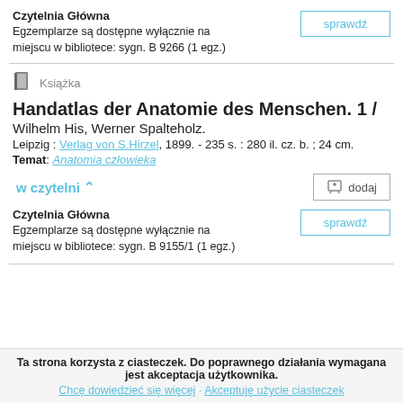Czytelnia Główna
Egzemplarze są dostępne wyłącznie na miejscu w bibliotece: sygn. B 9266 (1 egz.)
sprawdź
Książka
Handatlas der Anatomie des Menschen. 1 /
Wilhelm His, Werner Spalteholz.
Leipzig : Verlag von S.Hirzel, 1899. - 235 s. : 280 il. cz. b. ; 24 cm.
Temat: Anatomia człowieka
w czytelni ⇑
dodaj
Czytelnia Główna
Egzemplarze są dostępne wyłącznie na miejscu w bibliotece: sygn. B 9155/1 (1 egz.)
sprawdź
Ta strona korzysta z ciasteczek. Do poprawnego działania wymagana jest akceptacja użytkownika.
Chcę dowiedzieć się więcej · Akceptuję użycie ciasteczek